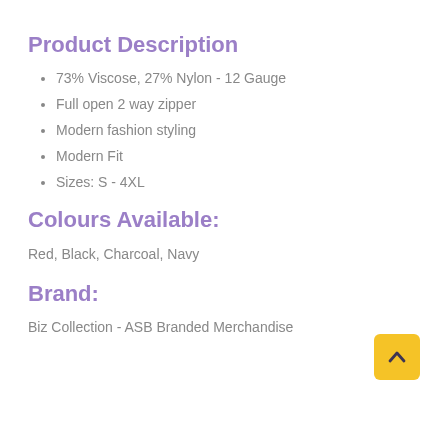Product Description
73% Viscose, 27% Nylon - 12 Gauge
Full open 2 way zipper
Modern fashion styling
Modern Fit
Sizes: S - 4XL
Colours Available:
Red, Black, Charcoal, Navy
Brand:
Biz Collection - ASB Branded Merchandise